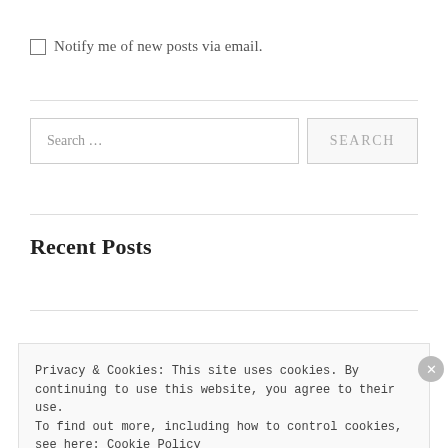Notify me of new posts via email.
Search …
SEARCH
Recent Posts
Lelutka – New Head Releases
Privacy & Cookies: This site uses cookies. By continuing to use this website, you agree to their use. To find out more, including how to control cookies, see here: Cookie Policy
Close and accept